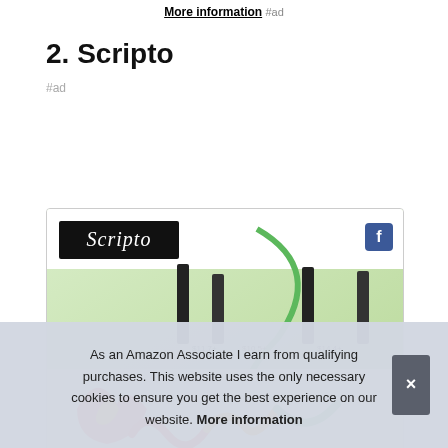More information #ad
2. Scripto
#ad
[Figure (photo): Scripto brand product listing image showing Scripto logo on black background, Facebook icon, multiple black marker/pen products arranged in a row, with green curved graphic elements and price labels visible at bottom]
As an Amazon Associate I earn from qualifying purchases. This website uses the only necessary cookies to ensure you get the best experience on our website. More information